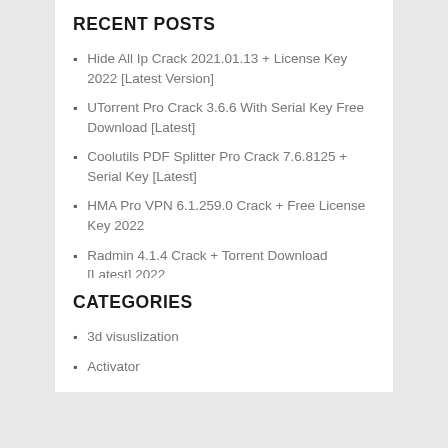RECENT POSTS
Hide All Ip Crack 2021.01.13 + License Key 2022 [Latest Version]
UTorrent Pro Crack 3.6.6 With Serial Key Free Download [Latest]
Coolutils PDF Splitter Pro Crack 7.6.8125 + Serial Key [Latest]
HMA Pro VPN 6.1.259.0 Crack + Free License Key 2022
Radmin 4.1.4 Crack + Torrent Download [Latest] 2022
CATEGORIES
3d visuslization
Activator